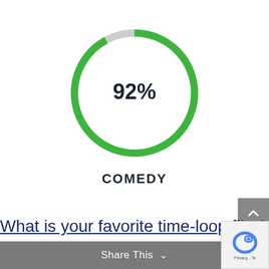[Figure (donut-chart): 92% Comedy]
COMEDY
What is your favorite time-loop film? Let me know in the comments section.
Share This